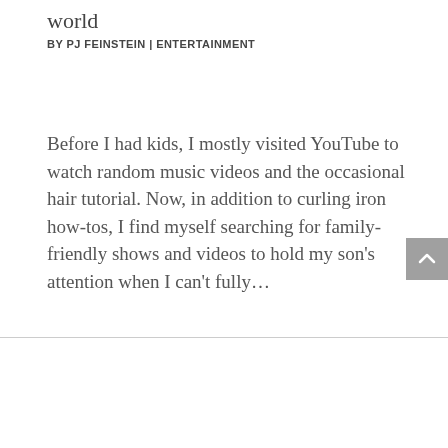world
BY PJ FEINSTEIN | ENTERTAINMENT
Before I had kids, I mostly visited YouTube to watch random music videos and the occasional hair tutorial. Now, in addition to curling iron how-tos, I find myself searching for family-friendly shows and videos to hold my son's attention when I can't fully…